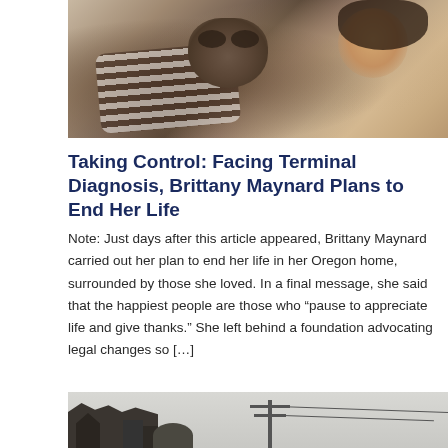[Figure (photo): A woman smiling and cuddling with a grey/brown dog, wearing a black-and-white striped top, photographed outdoors in warm tones.]
Taking Control: Facing Terminal Diagnosis, Brittany Maynard Plans to End Her Life
Note: Just days after this article appeared, Brittany Maynard carried out her plan to end her life in her Oregon home, surrounded by those she loved. In a final message, she said that the happiest people are those who “pause to appreciate life and give thanks.” She left behind a foundation advocating legal changes so […]
[Figure (photo): A black-and-white photograph showing old Tudor-style buildings on the left and a telephone pole in the center against an overcast sky.]